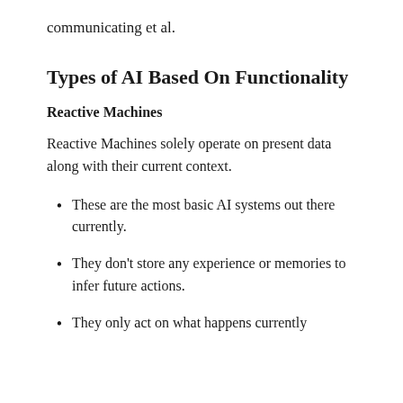communicating et al.
Types of AI Based On Functionality
Reactive Machines
Reactive Machines solely operate on present data along with their current context.
These are the most basic AI systems out there currently.
They don't store any experience or memories to infer future actions.
They only act on what happens currently